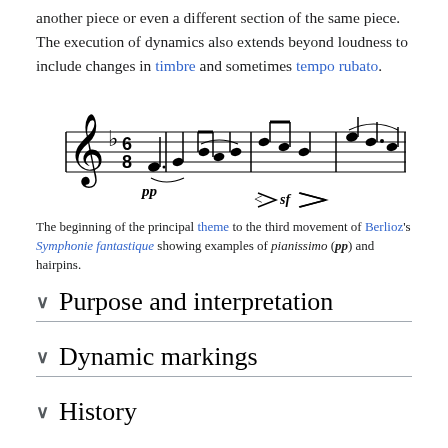another piece or even a different section of the same piece. The execution of dynamics also extends beyond loudness to include changes in timbre and sometimes tempo rubato.
[Figure (illustration): Musical score showing the beginning of the principal theme to the third movement of Berlioz's Symphonie fantastique, with examples of pianissimo (pp) and hairpins markings.]
The beginning of the principal theme to the third movement of Berlioz's Symphonie fantastique showing examples of pianissimo (pp) and hairpins.
Purpose and interpretation
Dynamic markings
History